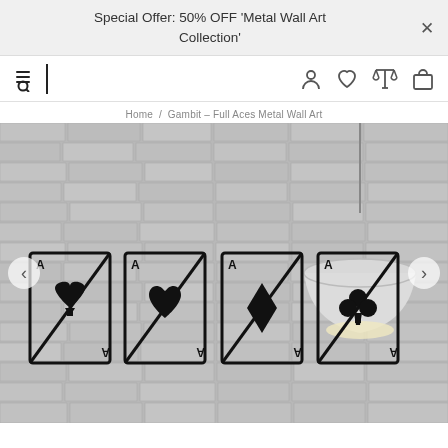Special Offer: 50% OFF 'Metal Wall Art Collection'
[Figure (screenshot): E-commerce website navigation bar with hamburger/search icon, vertical divider, and icons for account, wishlist, compare, and shopping bag]
Home / Gambit – Full Aces Metal Wall Art
[Figure (photo): Product photo of four metal wall art pieces mounted on a white brick wall, each depicting an ace playing card (spades, hearts, diamonds, clubs) in black metal with a diagonal stripe design, with a white pendant lamp visible in the upper right]